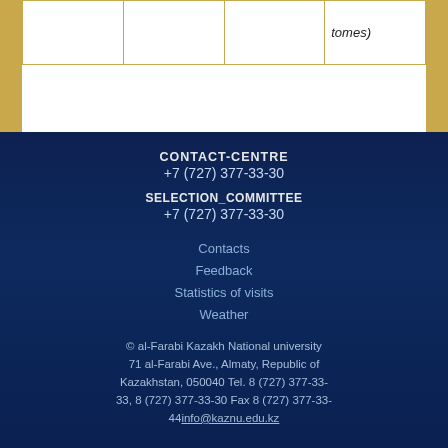|  |  |  | tomes) |
CONTACT-CENTRE
+7 (727) 377-33-30
SELECTION_COMMITTEE
+7 (727) 377-33-30
Contacts
Feedback
Statistics of visits
Weather
© al-Farabi Kazakh National university 71 al-Farabi Ave., Almaty, Republic of Kazakhstan, 050040 Tel. 8 (727) 377-33-33, 8 (727) 377-33-30 Fax 8 (727) 377-33-44info@kaznu.edu.kz